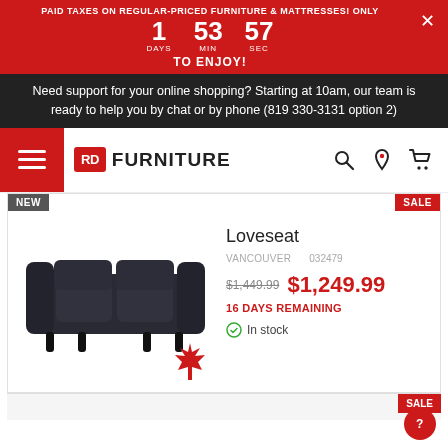PAID TAXES ON REGULAR-PRICED FURNITURE & MATTRESSES! ONLY 1 DAYS 53 MIN 57 SEC TO ENJOY!
Need support for your online shopping? Starting at 10am, our team is ready to help you by chat or by phone (819 330-3131 option 2)
[Figure (logo): RD Furniture logo with hamburger menu icon, search, location pin and cart icons]
NEW
SALE
[Figure (photo): Black leather loveseat sofa with dark wooden legs, with a red Canadian maple leaf icon in the lower right]
Loveseat
VANCOUVER    032479
$1,449.99  $1,249.99
16 DAYS REMAINING
In stock
SALE